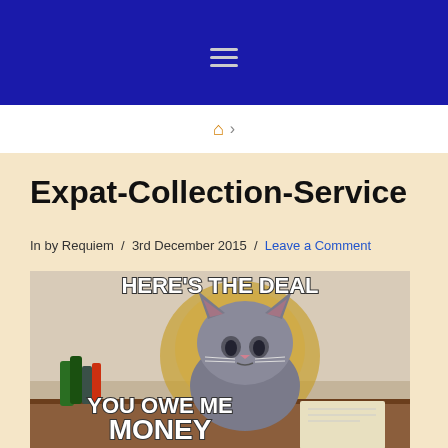Navigation menu (hamburger icon)
🏠 ›
Expat-Collection-Service
In by Requiem / 3rd December 2015 / Leave a Comment
[Figure (photo): Cat meme sitting at a table with bottles, text reads HERE'S THE DEAL YOU OWE ME MONEY]